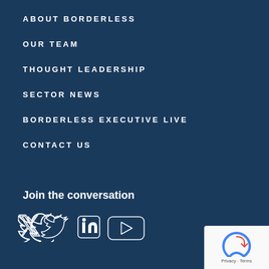ABOUT BORDERLESS
OUR TEAM
THOUGHT LEADERSHIP
SECTOR NEWS
BORDERLESS EXECUTIVE LIVE
CONTACT US
Join the conversation
[Figure (illustration): Social media icons: Twitter, LinkedIn, YouTube]
[Figure (logo): reCAPTCHA badge with Privacy and Terms links]